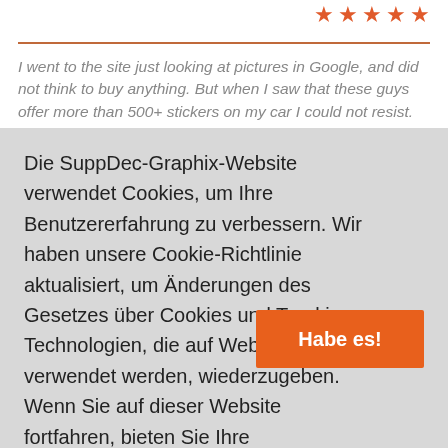[Figure (other): Five orange star rating icons in a row at the top right]
I went to the site just looking at pictures in Google, and did not think to buy anything. But when I saw that these guys offer more than 500+ stickers on my car I could not resist.
Die SuppDec-Graphix-Website verwendet Cookies, um Ihre Benutzererfahrung zu verbessern. Wir haben unsere Cookie-Richtlinie aktualisiert, um Änderungen des Gesetzes über Cookies und Tracking-Technologien, die auf Websites verwendet werden, wiederzugeben. Wenn Sie auf dieser Website fortfahren, bieten Sie Ihre Zustimmung unserer Verwendung von Cookies an.
Habe es!